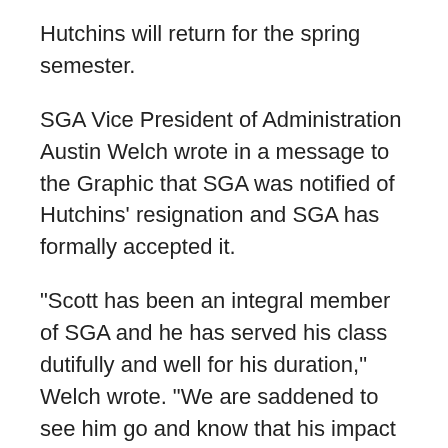Hutchins will return for the spring semester.
SGA Vice President of Administration Austin Welch wrote in a message to the Graphic that SGA was notified of Hutchins' resignation and SGA has formally accepted it.
"Scott has been an integral member of SGA and he has served his class dutifully and well for his duration," Welch wrote. "We are saddened to see him go and know that his impact will be felt on students for years to come."
Hutchins wrote in a message to the Graphic that he will recommend someone to replace him as junior class president to the entire SGA Senate to confirm before he leaves at the end of the semester.
"The junior class will continue to work on the 'Vision.